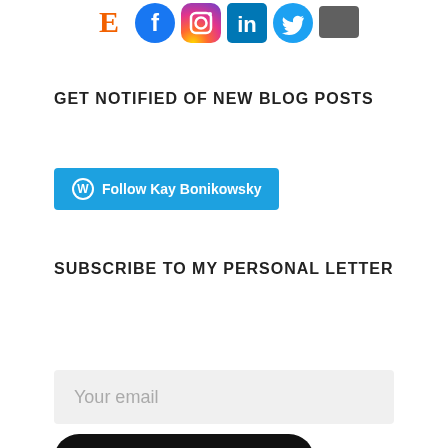[Figure (illustration): Row of social media icons: Etsy (orange E), Facebook (blue circle), Instagram (gradient circle), LinkedIn (blue square), Twitter (blue bird), and a dark gray square icon]
GET NOTIFIED OF NEW BLOG POSTS
[Figure (other): WordPress Follow button reading 'Follow Kay Bonikowsky' on a blue background with WordPress logo]
SUBSCRIBE TO MY PERSONAL LETTER
Your email
JOIN MY MAILCHIMP AUDIENCE